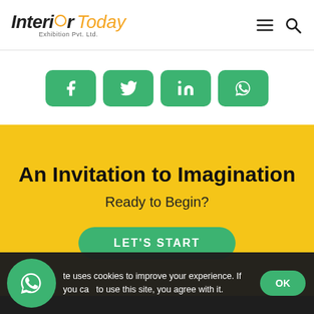Interior Today Exhibition Pvt. Ltd
[Figure (infographic): Social media share buttons: Facebook, Twitter, LinkedIn, WhatsApp — green rounded rectangles with white icons]
An Invitation to Imagination
Ready to Begin?
LET'S START
te uses cookies to improve your experience. If you ca to use this site, you agree with it.